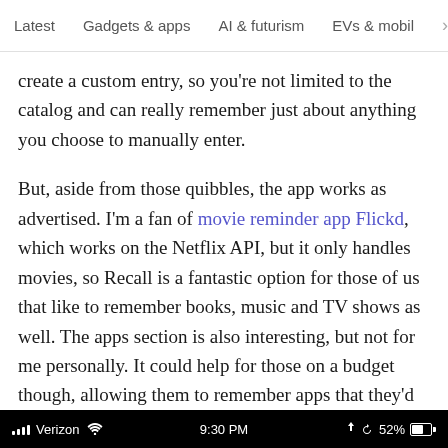Latest  Gadgets & apps  AI & futurism  EVs & mobil  >
create a custom entry, so you're not limited to the catalog and can really remember just about anything you choose to manually enter.
But, aside from those quibbles, the app works as advertised. I'm a fan of movie reminder app Flickd, which works on the Netflix API, but it only handles movies, so Recall is a fantastic option for those of us that like to remember books, music and TV shows as well. The apps section is also interesting, but not for me personally. It could help for those on a budget though, allowing them to remember apps that they'd like to purchase down the road.
Verizon  9:30 PM  52%